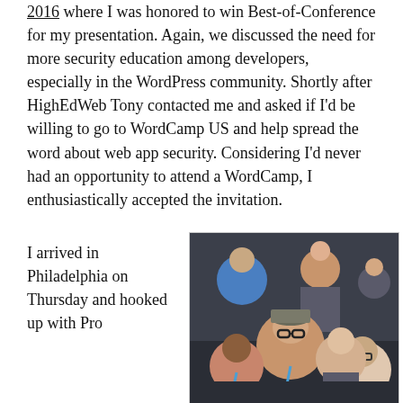2016 where I was honored to win Best-of-Conference for my presentation.  Again, we discussed the need for more security education among developers, especially in the WordPress community.  Shortly after HighEdWeb Tony contacted me and asked if I'd be willing to go to WordCamp US and help spread the word about web app security. Considering I'd never had an opportunity to attend a WordCamp, I enthusiastically accepted the invitation.
I arrived in Philadelphia on Thursday and hooked up with Pro
[Figure (photo): Group selfie photo of five people smiling at a WordCamp conference event, indoors with dark background. People wearing lanyards and gray branded shirts.]